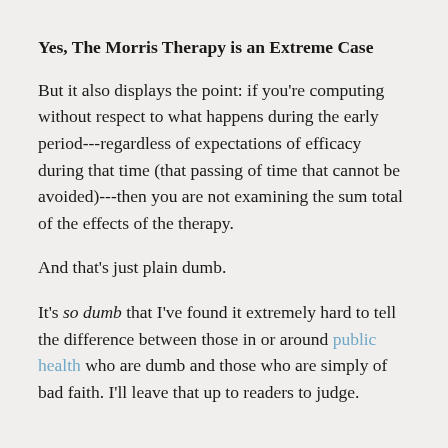Yes, The Morris Therapy is an Extreme Case
But it also displays the point: if you're computing without respect to what happens during the early period---regardless of expectations of efficacy during that time (that passing of time that cannot be avoided)---then you are not examining the sum total of the effects of the therapy.
And that's just plain dumb.
It's so dumb that I've found it extremely hard to tell the difference between those in or around public health who are dumb and those who are simply of bad faith. I'll leave that up to readers to judge.